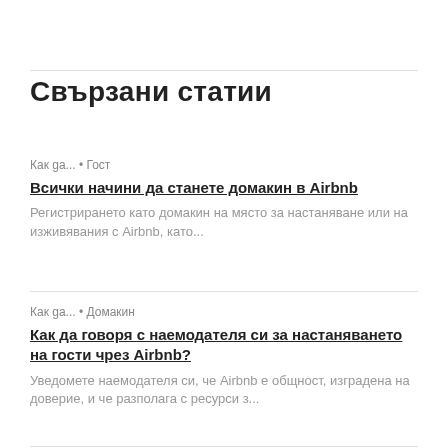Свързани статии
Как ga... • Гост
Всички начини да станете домакин в Airbnb
Регистрирането като домакин на място за настаняване или на изживявания с Airbnb, като...
Как ga... • Домакин
Как да говоря с наемодателя си за настаняването на гости чрез Airbnb?
Уведомете наемодателя си, че Airbnb е общност, изградена на доверие, и че разполага с ресурси з...